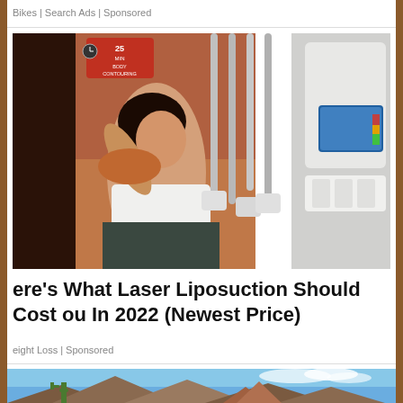Bikes | Search Ads | Sponsored
[Figure (photo): A woman lying in a reclining chair receiving laser liposuction / body contouring treatment with multiple applicator tubes attached to her abdomen. Medical device equipment visible on the right with a touchscreen display. A sign reading '25 min Body Contouring' is visible in the upper left background.]
ere's What Laser Liposuction Should Cost ou In 2022 (Newest Price)
eight Loss | Sponsored
[Figure (photo): Partial view of a desert landscape with saguaro cactus and rocky mountains (appears to be Arizona/Superstition Mountains area) against a blue sky with clouds.]